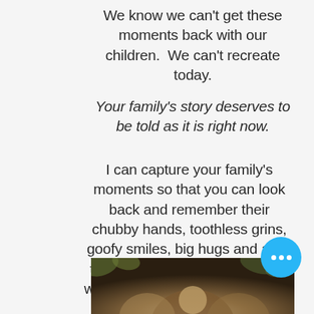We know we can't get these moments back with our children.  We can't recreate today.
Your family's story deserves to be told as it is right now.
I can capture your family's moments so that you can look back and remember their chubby hands, toothless grins, goofy smiles, big hugs and all of those tender moments that you want to relive daily with beautiful, custom artwork for your own home.
[Figure (photo): Bottom strip showing a partial outdoor family photo with warm tones, bokeh background with trees/leaves]
[Figure (other): Blue circular chat button with three white dots]